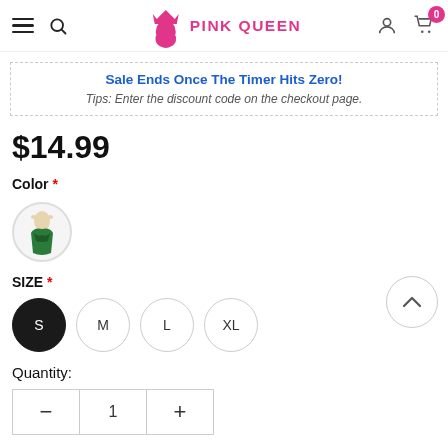PINK QUEEN
Sale Ends Once The Timer Hits Zero!
Tips: Enter the discount code on the checkout page.
$14.99
Color *
[Figure (photo): Small circular color swatch showing a green swimsuit/bodysuit garment]
SIZE *
S  M  L  XL
Quantity:
- 1 +